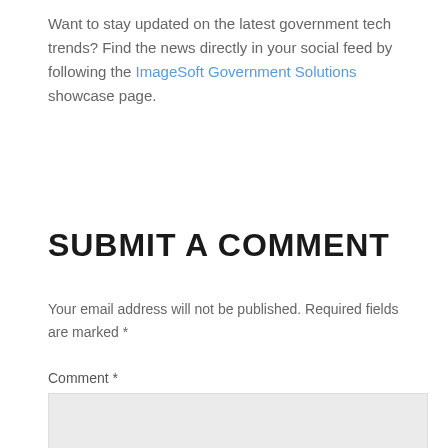Want to stay updated on the latest government tech trends? Find the news directly in your social feed by following the ImageSoft Government Solutions showcase page.
SUBMIT A COMMENT
Your email address will not be published. Required fields are marked *
Comment *